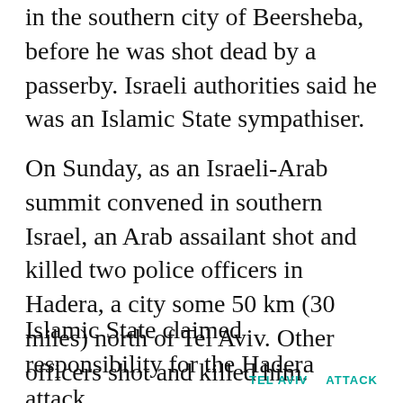in the southern city of Beersheba, before he was shot dead by a passerby. Israeli authorities said he was an Islamic State sympathiser.
On Sunday, as an Israeli-Arab summit convened in southern Israel, an Arab assailant shot and killed two police officers in Hadera, a city some 50 km (30 miles) north of Tel Aviv. Other officers shot and killed him.
Islamic State claimed responsibility for the Hadera attack.
TEL AVIV    ATTACK